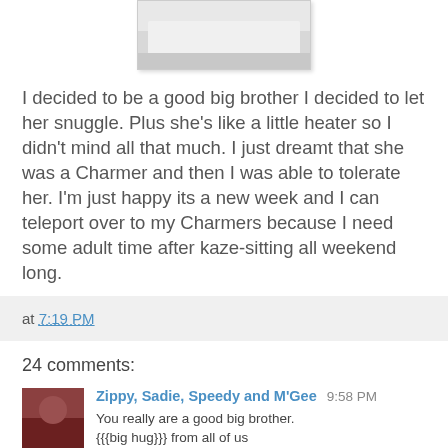[Figure (photo): Partial photo of what appears to be white bedding or pillows, cropped at top of page]
I decided to be a good big brother I decided to let her snuggle. Plus she's like a little heater so I didn't mind all that much. I just dreamt that she was a Charmer and then I was able to tolerate her. I'm just happy its a new week and I can teleport over to my Charmers because I need some adult time after kaze-sitting all weekend long.
at 7:19 PM
24 comments:
Zippy, Sadie, Speedy and M'Gee  9:58 PM
You really are a good big brother.
{{{big hug}}} from all of us
Reply